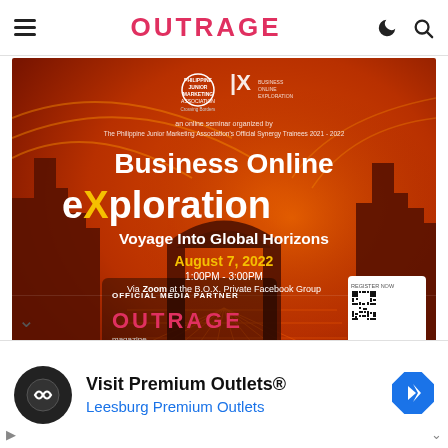OUTRAGE
[Figure (illustration): Event poster for 'Business Online eXploration: Voyage Into Global Horizons' — an online seminar organized by The Philippine Junior Marketing Association's Official Synergy Trainees 2021-2022. Date: August 7, 2022, 1:00PM - 3:00PM. Features logos of Philippine Junior Marketing Association and another organization, city skyline silhouettes on red/orange gradient background, QR code, OUTRAGE as official media partner branding, and social media handles.]
Visit Premium Outlets® Leesburg Premium Outlets